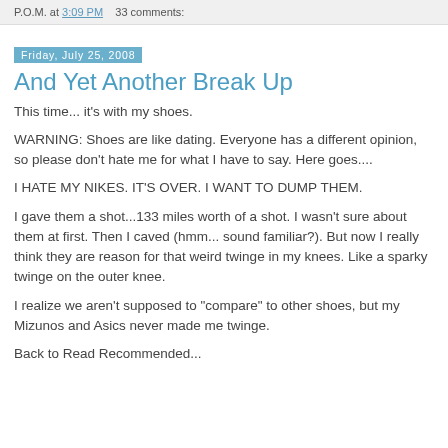P.O.M. at 3:09 PM   33 comments:
Friday, July 25, 2008
And Yet Another Break Up
This time... it's with my shoes.
WARNING: Shoes are like dating. Everyone has a different opinion, so please don't hate me for what I have to say. Here goes....
I HATE MY NIKES. IT'S OVER. I WANT TO DUMP THEM.
I gave them a shot...133 miles worth of a shot. I wasn't sure about them at first. Then I caved (hmm... sound familiar?). But now I really think they are reason for that weird twinge in my knees. Like a sparky twinge on the outer knee.
I realize we aren't supposed to "compare" to other shoes, but my Mizunos and Asics never made me twinge.
Back to Read Recommended...